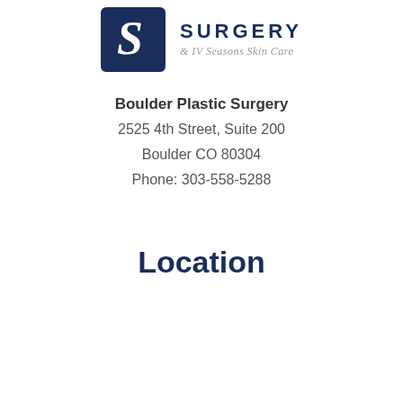[Figure (logo): Boulder Plastic Surgery logo: dark navy square with stylized 'S' letter mark, next to text 'SURGERY' in large navy caps and '& IV Seasons Skin Care' in italic gray below]
Boulder Plastic Surgery
2525 4th Street, Suite 200
Boulder CO 80304
Phone: 303-558-5288
Location